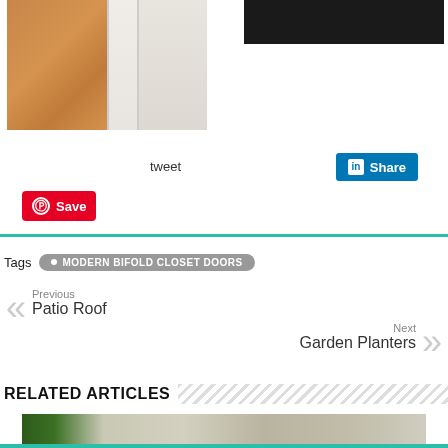[Figure (photo): Bifold closet doors open showing hardwood floor interior]
[Figure (photo): Dark colored item, partially visible at top right]
tweet
Share (LinkedIn button)
Save (Pinterest button)
Tags  • MODERN BIFOLD CLOSET DOORS
Previous
Patio Roof
Next
Garden Planters
RELATED ARTICLES
[Figure (photo): Related article photo showing pendant lamp and Christmas tree]